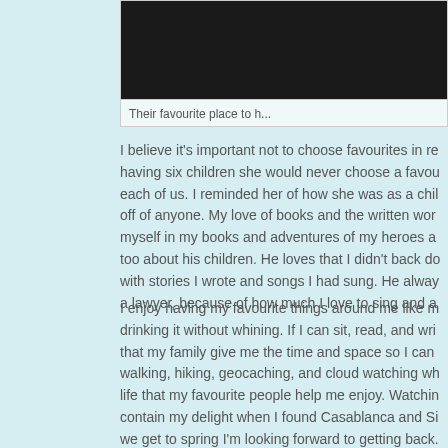[Figure (photo): Dark photo, partially visible at top of page — their favourite place]
Their favourite place to h...
I believe it's important not to choose favourites in re... having six children she would never choose a favou... each of us. I reminded her of how she was as a chil... off of anyone. My love of books and the written wor... myself in my books and adventures of my heroes a... too about his children. He loves that I didn't back do... with stories I wrote and songs I had sung. He alway... a lawyer, because of how much I love to sing and a...
I enjoy having my favourite things around me like m... drinking it without whining. If I can sit, read, and wri... that my family give me the time and space so I can... walking, hiking, geocaching, and cloud watching wh... life that my favourite people help me enjoy. Watchin... contain my delight when I found Casablanca and Si... we get to spring I'm looking forward to getting back... Getting my hands and feet in the soil fills my heart w... desperately needs. Planting flowers around my new... favourite roses, lilies, tulips, and sweet peas...